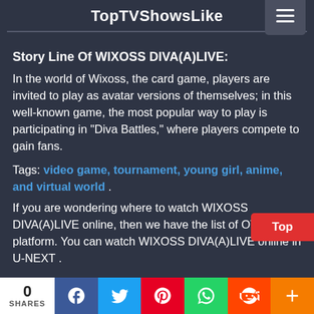TopTVShowsLike
Story Line Of WIXOSS DIVA(A)LIVE:
In the world of Wixoss, the card game, players are invited to play as avatar versions of themselves; in this well-known game, the most popular way to play is participating in "Diva Battles," where players compete to gain fans.
Tags: video game, tournament, young girl, anime, and virtual world .
If you are wondering where to watch WIXOSS DIVA(A)LIVE online, then we have the list of OTT platform. You can watch WIXOSS DIVA(A)LIVE online in U-NEXT .
0 SHARES | Facebook | Twitter | Pinterest | WhatsApp | Reddit | More